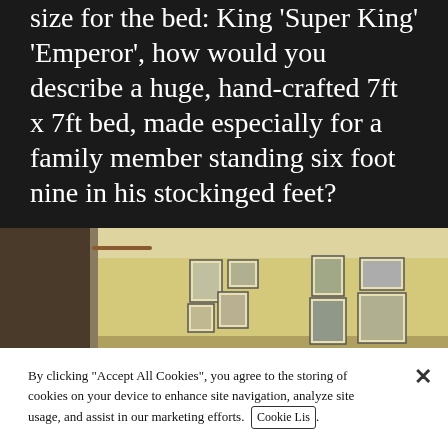size for the bed: King 'Super King' 'Emperor', how would you describe a huge, hand-crafted 7ft x 7ft bed, made especially for a family member standing six foot nine in his stockinged feet?
[Figure (photo): Interior room photo showing a yellow/cream wall with several framed pictures hung on it, partial view of a room.]
By clicking "Accept All Cookies", you agree to the storing of cookies on your device to enhance site navigation, analyze site usage, and assist in our marketing efforts. Cookie Lis.
Cookies Settings
Reject All